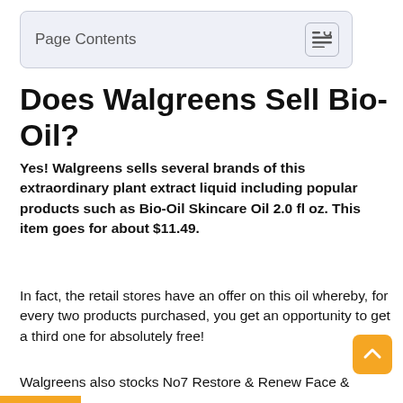Page Contents
Does Walgreens Sell Bio-Oil?
Yes! Walgreens sells several brands of this extraordinary plant extract liquid including popular products such as Bio-Oil Skincare Oil 2.0 fl oz. This item goes for about $11.49.
In fact, the retail stores have an offer on this oil whereby, for every two products purchased, you get an opportunity to get a third one for absolutely free!
They charge as little as $35 to ship this cream to your home. For business enterprise customers, the retailer can ship it to your store without any charges.
Walgreens also stocks No7 Restore & Renew Face &